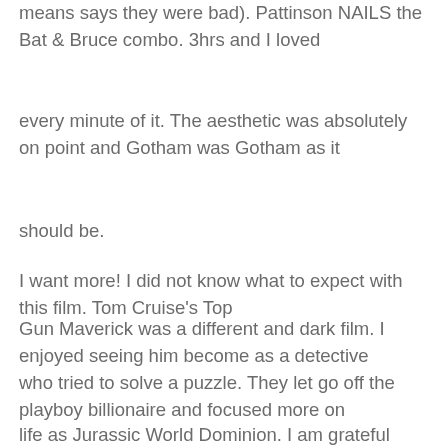means says they were bad). Pattinson NAILS the Bat & Bruce combo. 3hrs and I loved
every minute of it. The aesthetic was absolutely on point and Gotham was Gotham as it
should be.
I want more! I did not know what to expect with this film. Tom Cruise's Top
Gun Maverick was a different and dark film. I enjoyed seeing him become as a detective
who tried to solve a puzzle. They let go off the playboy billionaire and focused more on
life as Jurassic World Dominion. I am grateful they didn't show how he became